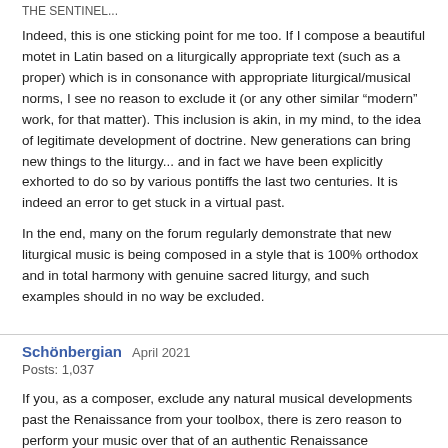THE SENTINEL...
Indeed, this is one sticking point for me too. If I compose a beautiful motet in Latin based on a liturgically appropriate text (such as a proper) which is in consonance with appropriate liturgical/musical norms, I see no reason to exclude it (or any other similar “modern” work, for that matter). This inclusion is akin, in my mind, to the idea of legitimate development of doctrine. New generations can bring new things to the liturgy... and in fact we have been explicitly exhorted to do so by various pontiffs the last two centuries. It is indeed an error to get stuck in a virtual past.
In the end, many on the forum regularly demonstrate that new liturgical music is being composed in a style that is 100% orthodox and in total harmony with genuine sacred liturgy, and such examples should in no way be excluded.
Schönbergian   April 2021
Posts: 1,037
If you, as a composer, exclude any natural musical developments past the Renaissance from your toolbox, there is zero reason to perform your music over that of an authentic Renaissance composer. That should be reason enough to find a personal voice.